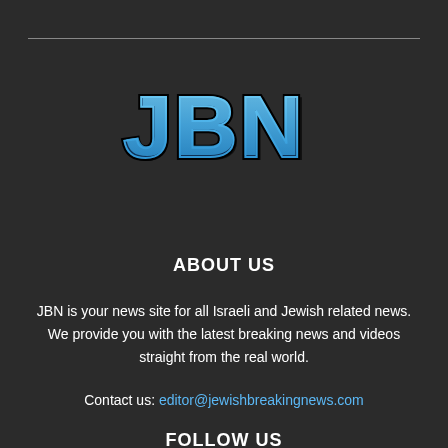[Figure (logo): JBN logo with large blue 3D-style letters J, B, N on dark background]
ABOUT US
JBN is your news site for all Israeli and Jewish related news. We provide you with the latest breaking news and videos straight from the real world.
Contact us: editor@jewishbreakingnews.com
FOLLOW US